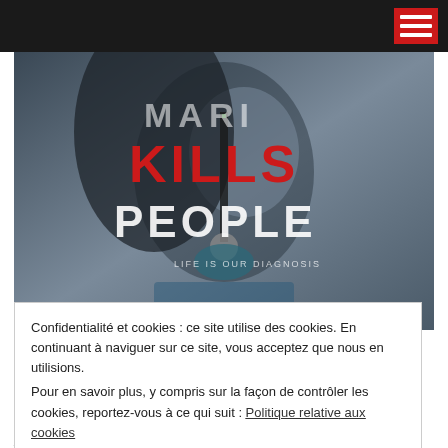Navigation bar with hamburger menu
[Figure (photo): Promotional poster for 'Mary Kills People' TV show showing a woman holding a syringe with text overlay: MARI KILLS PEOPLE, LIFE IS OUR DIAGNOSIS]
25 janvier 2017  0
Mary Kills People: Caroline
Confidentialité et cookies : ce site utilise des cookies. En continuant à naviguer sur ce site, vous acceptez que nous en utilisions. Pour en savoir plus, y compris sur la façon de contrôler les cookies, reportez-vous à ce qui suit : Politique relative aux cookies
Fermer et accepter
Dhavernas